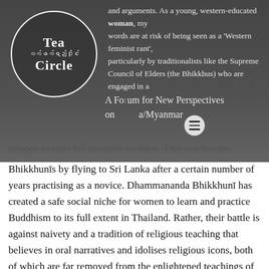Tea Circle — လက်ဖက်ရည်ဝိုင်း — A Forum for New Perspectives on Burma/Myanmar
and arguments. As a young, western-educated woman, my words are at risk of being seen as a 'Western feminist rant', particularly by traditionalists like the Supreme Council of Elders (the Bhikkhus) who are engaged in a struggle to enter full monastic tradition. They can become Bhikkhunīs by flying to Sri Lanka after a certain number of years practising as a novice. Dhammananda Bhikkhunī has created a safe social niche for women to learn and practice Buddhism to its full extent in Thailand. Rather, their battle is against naivety and a tradition of religious teaching that believes in oral narratives and idolises religious icons, both of which are far removed from the enlightened teachings of Buddhism. A quick browse through contents associated to Bhikkhunī in the official textbooks gives us an insight into the superficiality of knowledge concerning the female sangha among male sangha. Most textbooks often deem Bhikkhunī as 'extinct' or 'discontinued'. These arguments